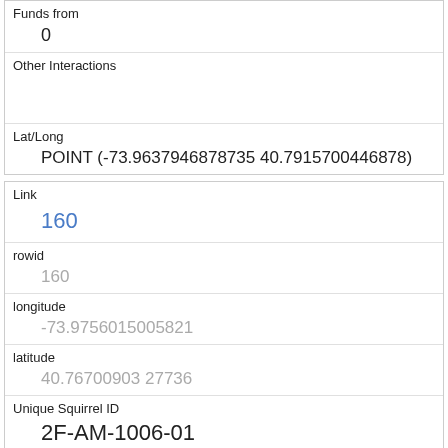| Funds from | 0 |
| Other Interactions |  |
| Lat/Long | POINT (-73.9637946878735 40.7915700446878) |
| Link | 160 |
| rowid | 160 |
| longitude | -73.9756015005821 |
| latitude | 40.76700903 27736 |
| Unique Squirrel ID | 2F-AM-1006-01 |
| Hectare | 02F |
| Shift | AM |